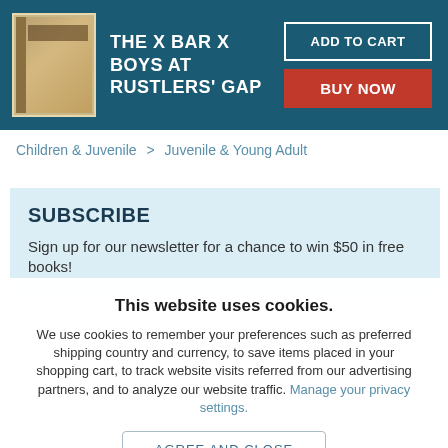THE X BAR X BOYS AT RUSTLERS' GAP
Children & Juvenile > Juvenile & Young Adult
SUBSCRIBE
Sign up for our newsletter for a chance to win $50 in free books!
This website uses cookies.
We use cookies to remember your preferences such as preferred shipping country and currency, to save items placed in your shopping cart, to track website visits referred from our advertising partners, and to analyze our website traffic. Manage your privacy settings.
AGREE AND CLOSE